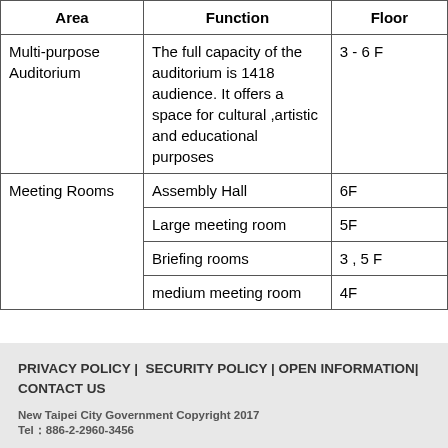| Area | Function | Floor |
| --- | --- | --- |
| Multi-purpose Auditorium | The full capacity of the auditorium is 1418 audience. It offers a space for cultural ,artistic and educational purposes | 3 - 6 F |
| Meeting Rooms | Assembly Hall | 6F |
|  | Large meeting room | 5F |
|  | Briefing rooms | 3 , 5 F |
|  | medium meeting room | 4F |
PRIVACY POLICY | SECURITY POLICY | OPEN INFORMATION| CONTACT US
New Taipei City Government Copyright 2017
Tel：886-2-2960-3456